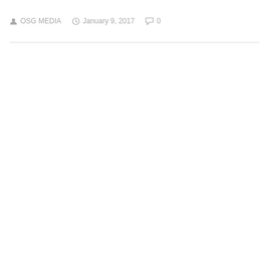OSG MEDIA   January 9, 2017   0